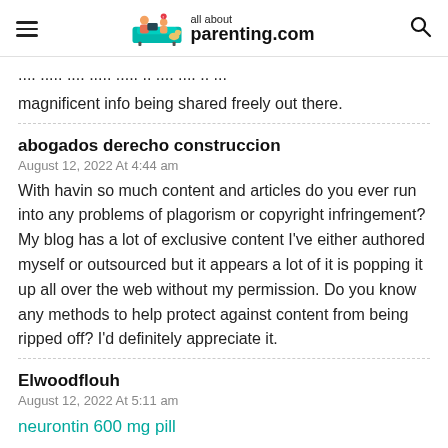all about parenting.com
...more from this post. I am very glad to see such magnificent info being shared freely out there.
abogados derecho construccion
August 12, 2022 At 4:44 am
With havin so much content and articles do you ever run into any problems of plagorism or copyright infringement? My blog has a lot of exclusive content I've either authored myself or outsourced but it appears a lot of it is popping it up all over the web without my permission. Do you know any methods to help protect against content from being ripped off? I'd definitely appreciate it.
Elwoodflouh
August 12, 2022 At 5:11 am
neurontin 600 mg pill